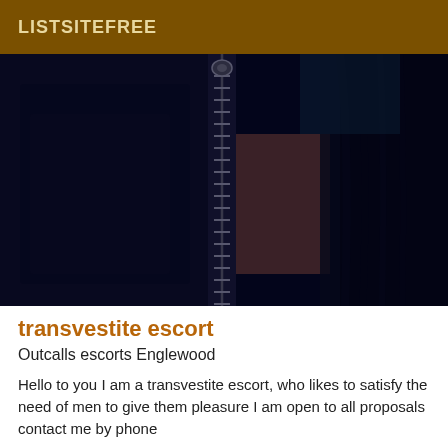LISTSITEFREE
[Figure (photo): Close-up photo of a person wearing a dark black leather jacket with a silver zipper, dark hair visible on the right side, dark blue-toned image]
transvestite escort
Outcalls escorts Englewood
Hello to you I am a transvestite escort, who likes to satisfy the need of men to give them pleasure I am open to all proposals contact me by phone